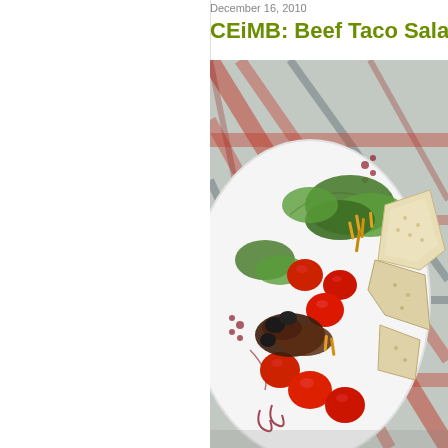December 16, 2010
CEiMB: Beef Taco Sala
[Figure (photo): A white decorative plate with a beef taco salad, featuring cherry tomatoes, green lettuce, black olives, shredded cheese, crackers/tortilla chips, and seasoned ground beef, set on a plaid red/green/white tablecloth background.]